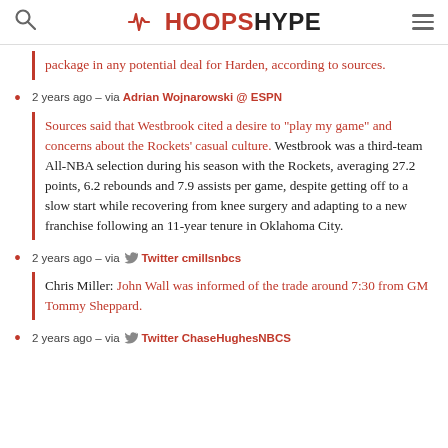HOOPSHYPE
package in any potential deal for Harden, according to sources.
2 years ago – via Adrian Wojnarowski @ ESPN
Sources said that Westbrook cited a desire to "play my game" and concerns about the Rockets' casual culture. Westbrook was a third-team All-NBA selection during his season with the Rockets, averaging 27.2 points, 6.2 rebounds and 7.9 assists per game, despite getting off to a slow start while recovering from knee surgery and adapting to a new franchise following an 11-year tenure in Oklahoma City.
2 years ago – via Twitter cmillsnbcs
Chris Miller: John Wall was informed of the trade around 7:30 from GM Tommy Sheppard.
2 years ago – via Twitter ChaseHughesNBCS